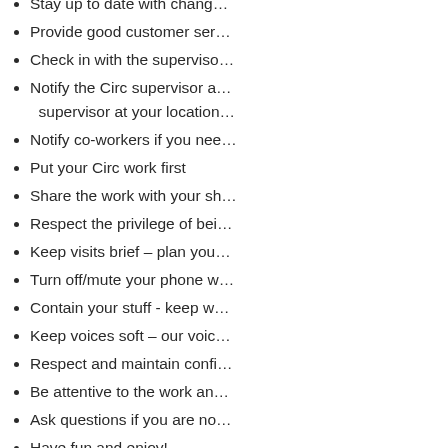Stay up to date with chang…
Provide good customer ser…
Check in with the superviso…
Notify the Circ supervisor a… supervisor at your location…
Notify co-workers if you nee…
Put your Circ work first
Share the work with your sh…
Respect the privilege of bei…
Keep visits brief – plan you…
Turn off/mute your phone w…
Contain your stuff - keep w…
Keep voices soft – our voic…
Respect and maintain confi…
Be attentive to the work an…
Ask questions if you are no…
Have fun and enjoy!
THE DON'T LIST